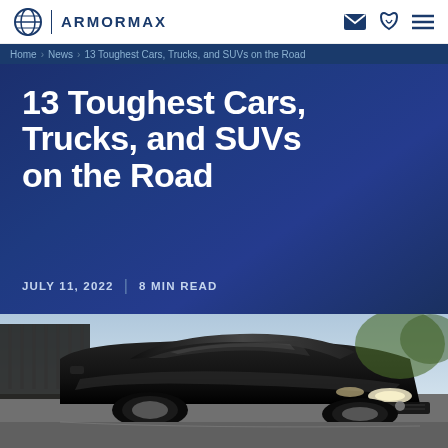ARMORMAX
Home > News > 13 Toughest Cars, Trucks, and SUVs on the Road
13 Toughest Cars, Trucks, and SUVs on the Road
JULY 11, 2022 | 8 MIN READ
[Figure (photo): Black luxury armored SUV parked outside ornate iron fence, photographed from front-left angle]